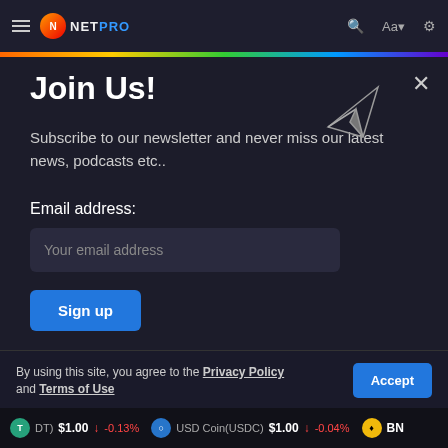NetPro - browser header bar with logo, hamburger, search, font, settings icons
Join Us!
Subscribe to our newsletter and never miss our latest news, podcasts etc..
Email address:
Your email address
Sign up
Zero spam. Unsubscribe at any time.
By using this site, you agree to the Privacy Policy and Terms of Use.
(USDT) $1.00 ↓ -0.13%  USD Coin(USDC) $1.00 ↓ -0.04%  BNB